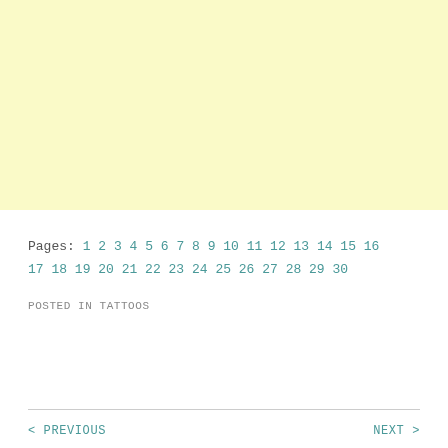[Figure (other): Large light yellow rectangle, blank/empty content area]
Pages: 1 2 3 4 5 6 7 8 9 10 11 12 13 14 15 16 17 18 19 20 21 22 23 24 25 26 27 28 29 30
POSTED IN TATTOOS
< PREVIOUS   NEXT >